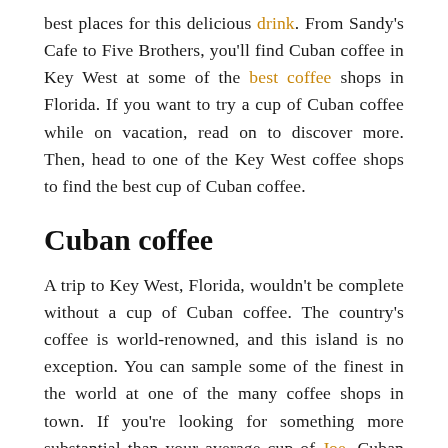best places for this delicious drink. From Sandy's Cafe to Five Brothers, you'll find Cuban coffee in Key West at some of the best coffee shops in Florida. If you want to try a cup of Cuban coffee while on vacation, read on to discover more. Then, head to one of the Key West coffee shops to find the best cup of Cuban coffee.
Cuban coffee
A trip to Key West, Florida, wouldn't be complete without a cup of Cuban coffee. The country's coffee is world-renowned, and this island is no exception. You can sample some of the finest in the world at one of the many coffee shops in town. If you're looking for something more substantial than your average cup of Joe, Cuban coffee is worth trying. Whether you're into a cup of straight coffee, an iced coffee, or something sweeter, there's a variety of Cuban-styled beverages to